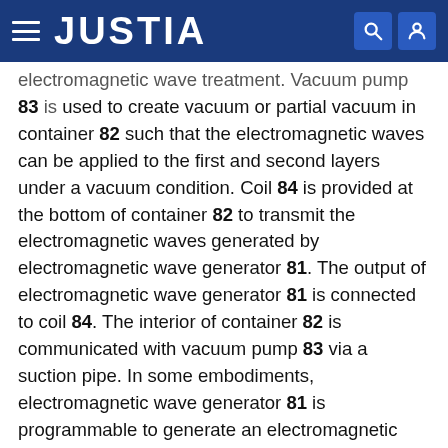JUSTIA
electromagnetic wave treatment. Vacuum pump 83 is used to create vacuum or partial vacuum in container 82 such that the electromagnetic waves can be applied to the first and second layers under a vacuum condition. Coil 84 is provided at the bottom of container 82 to transmit the electromagnetic waves generated by electromagnetic wave generator 81. The output of electromagnetic wave generator 81 is connected to coil 84. The interior of container 82 is communicated with vacuum pump 83 via a suction pipe. In some embodiments, electromagnetic wave generator 81 is programmable to generate an electromagnetic wave at a predetermined frequency for a predetermined period of time according to user's requirement.
In some embodiments, a controller is provided to control the frequency and timing of electromagnetic waves.